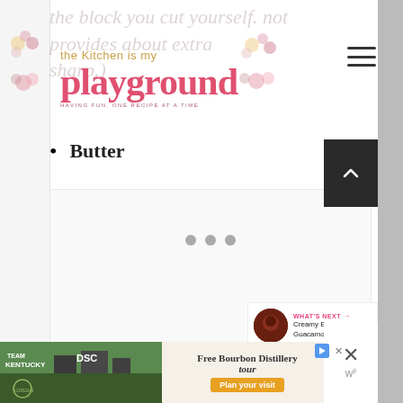the kitchen is my playground — HAVING FUN, ONE RECIPE AT A TIME
the block you cut yourself. Not provides about extra sharp.)
Butter
[Figure (other): Loading placeholder with three gray dots]
[Figure (photo): Advertisement banner for Free Bourbon Distillery Tour — Team Kentucky / Green River — Plan your visit button]